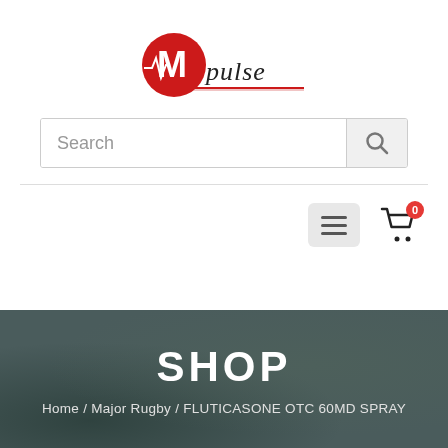[Figure (logo): Mpulse medical logo — red circle with white M and heartbeat line, with 'pulse' text in dark script, underlined with red line]
Search
[Figure (other): Hamburger menu button (three horizontal lines) and shopping cart icon with badge showing 0]
SHOP
Home / Major Rugby / FLUTICASONE OTC 60MD SPRAY